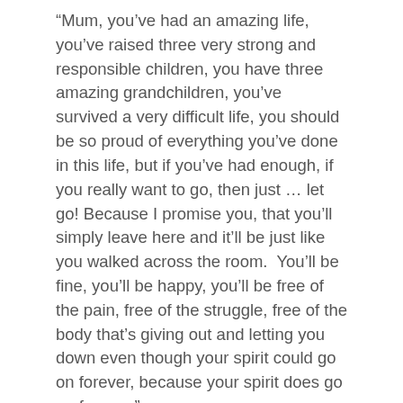“Mum, you’ve had an amazing life, you’ve raised three very strong and responsible children, you have three amazing grandchildren, you’ve survived a very difficult life, you should be so proud of everything you’ve done in this life, but if you’ve had enough, if you really want to go, then just … let go! Because I promise you, that you’ll simply leave here and it’ll be just like you walked across the room.  You’ll be fine, you’ll be happy, you’ll be free of the pain, free of the struggle, free of the body that’s giving out and letting you down even though your spirit could go on forever, because your spirit does go on forever.”
So it was the very day after our first hugely successful event for “Meet Your GLBTIQ Neighbours” or “Wyndham Rainbow Neighbours Inc” as we are now called, that I got the news she had passed.  If we lost her the day before or even